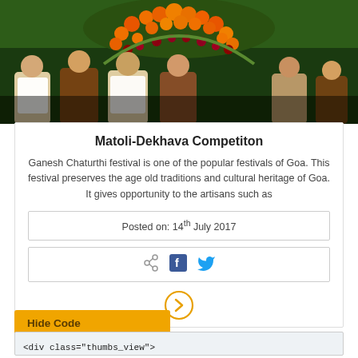[Figure (photo): Festival scene showing people standing in front of a decorative display with oranges and flowers arranged in a large decorative arch/pattern, appears to be a Ganesh Chaturthi event display]
Matoli-Dekhava Competiton
Ganesh Chaturthi festival is one of the popular festivals of Goa. This festival preserves the age old traditions and cultural heritage of Goa. It gives opportunity to the artisans such as
Posted on: 14th July 2017
[Figure (infographic): Social sharing icons: share icon (grey), Facebook icon (blue f), Twitter bird icon (blue)]
[Figure (infographic): Orange circular arrow/chevron button pointing right]
Hide Code
<div class="thumbs_view">
<div class="equal-height event-container">
<div class="col-lg-3 col-md-3 col-sm-6 col-xs-12">
<div class="awardListing">
<div class="eventImage">
<img src="http://preview.s3waas.gov.in/wp-content/themes/sdo-theme/images/events/event1.jpg">
</div>